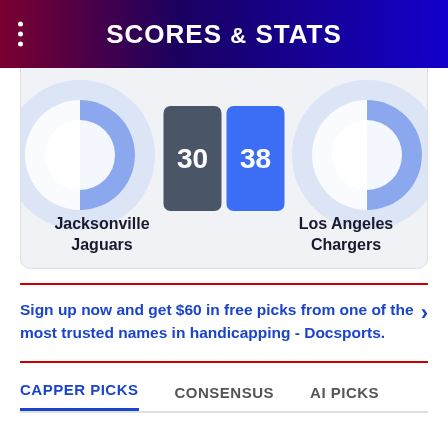SCORES & STATS
[Figure (infographic): Jacksonville Jaguars vs Los Angeles Chargers score display showing 30 (Jaguars, dark grey box) and 38 (Chargers, blue box), with team logo circles on each side]
Jacksonville Jaguars
Los Angeles Chargers
Sign up now and get $60 in free picks from one of the most trusted names in handicapping - Docsports.
CAPPER PICKS
CONSENSUS
AI PICKS